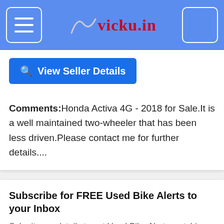vicky.in
View Seller Details
Comments:Honda Activa 4G - 2018 for Sale.It is a well maintained two-wheeler that has been less driven.Please contact me for further details....
Subscribe for FREE Used Bike Alerts to your Inbox
Submit your details to get Used Bike Alerts matching your interest, delivered to your inbox for FREE of Cost.
Name
Email